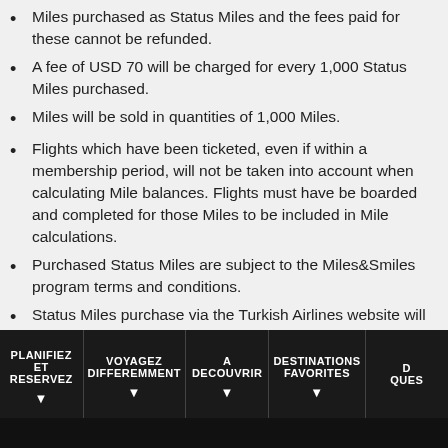Miles purchased as Status Miles and the fees paid for these cannot be refunded.
A fee of USD 70 will be charged for every 1,000 Status Miles purchased.
Miles will be sold in quantities of 1,000 Miles.
Flights which have been ticketed, even if within a membership period, will not be taken into account when calculating Mile balances. Flights must have be boarded and completed for those Miles to be included in Mile calculations.
Purchased Status Miles are subject to the Miles&Smiles program terms and conditions.
Status Miles purchase via the Turkish Airlines website will be credited to the member's account immediately.
A confirmation e-mail and SMS will be sent once Status Miles have been credited to a member's account.
PLANIFIEZ ET RESERVEZ | VOYAGEZ DIFFEREMMENT | A DECOUVRIR | DESTINATIONS FAVORITES | QUES...